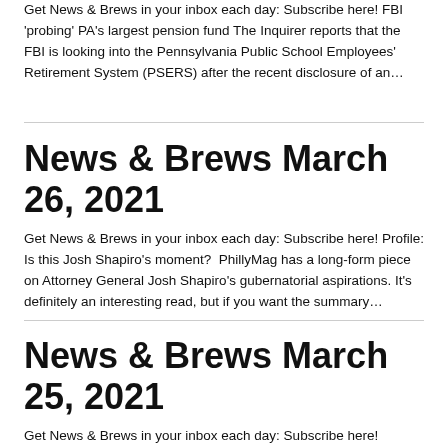Get News & Brews in your inbox each day: Subscribe here! FBI 'probing' PA's largest pension fund The Inquirer reports that the FBI is looking into the Pennsylvania Public School Employees' Retirement System (PSERS) after the recent disclosure of an…
News & Brews March 26, 2021
Get News & Brews in your inbox each day: Subscribe here! Profile: Is this Josh Shapiro's moment?  PhillyMag has a long-form piece on Attorney General Josh Shapiro's gubernatorial aspirations. It's definitely an interesting read, but if you want the summary…
News & Brews March 25, 2021
Get News & Brews in your inbox each day: Subscribe here! Senate committee advances Taxpayer Protection Act The Senate Finance